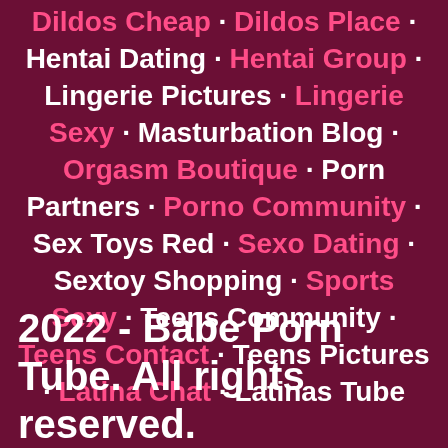Dildos Cheap · Dildos Place · Hentai Dating · Hentai Group · Lingerie Pictures · Lingerie Sexy · Masturbation Blog · Orgasm Boutique · Porn Partners · Porno Community · Sex Toys Red · Sexo Dating · Sextoy Shopping · Sports Sexy · Teens Community · Teens Contact · Teens Pictures · Latina Chat · Latinas Tube
2022 - Babe Porn Tube. All rights reserved.